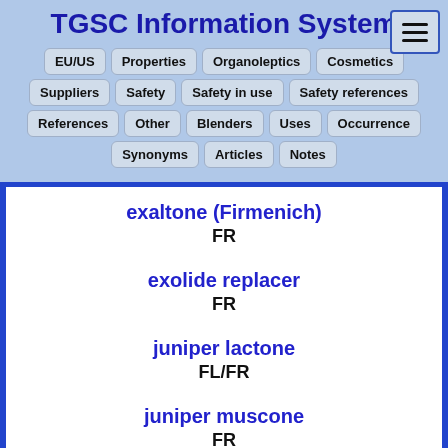TGSC Information System
EU/US | Properties | Organoleptics | Cosmetics | Suppliers | Safety | Safety in use | Safety references | References | Other | Blenders | Uses | Occurrence | Synonyms | Articles | Notes
exaltone (Firmenich)
FR
exolide replacer
FR
juniper lactone
FL/FR
juniper muscone
FR
(E)-3-